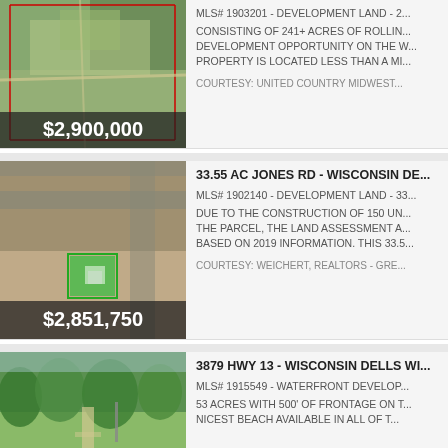[Figure (photo): Aerial satellite view of 241+ acres of rolling development land, with red boundary lines overlaid. Price tag overlay: $2,900,000]
MLS# 1903201 - DEVELOPMENT LAND - 2...
CONSISTING OF 241+ ACRES OF ROLLING DEVELOPMENT OPPORTUNITY ON THE W... PROPERTY IS LOCATED LESS THAN A MI...
COURTESY: UNITED COUNTRY MIDWEST...
[Figure (photo): Aerial satellite view of 33.55 acre parcel on Jones Rd, Wisconsin Dells showing construction site with green highlighted parcel. Price tag overlay: $2,851,750]
33.55 AC JONES RD - WISCONSIN DE...
MLS# 1902140 - DEVELOPMENT LAND - 33...
DUE TO THE CONSTRUCTION OF 150 UN... THE PARCEL, THE LAND ASSESSMENT A... BASED ON 2019 INFORMATION. THIS 33.5...
COURTESY: WEICHERT, REALTORS - GRE...
[Figure (photo): Ground-level photo of 3879 Hwy 13, Wisconsin Dells, showing wooded waterfront property with path]
3879 HWY 13 - WISCONSIN DELLS WI...
MLS# 1915549 - WATERFRONT DEVELOP...
53 ACRES WITH 500' OF FRONTAGE ON T... NICEST BEACH AVAILABLE IN ALL OF T...